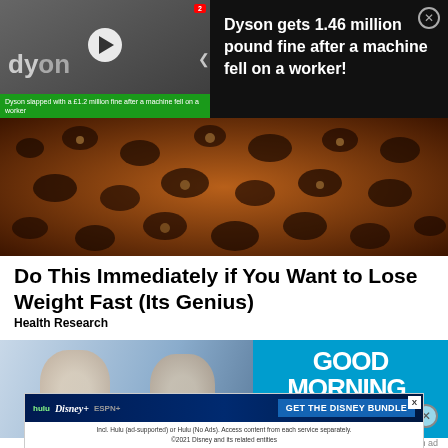[Figure (screenshot): Dark video ad banner showing Dyson vacuum, play button, and news caption on green bar]
Dyson gets 1.46 million pound fine after a machine fell on a worker!
[Figure (photo): Close-up photo of a leopard print or animal-print textured surface in brown tones]
Do This Immediately if You Want to Lose Weight Fast (Its Genius)
Health Research
[Figure (screenshot): Good Morning America TV show screenshot with two women and GMA logo]
Report an ad
[Figure (screenshot): Disney Bundle advertisement with Hulu, Disney+, ESPN+ logos and GET THE DISNEY BUNDLE CTA]